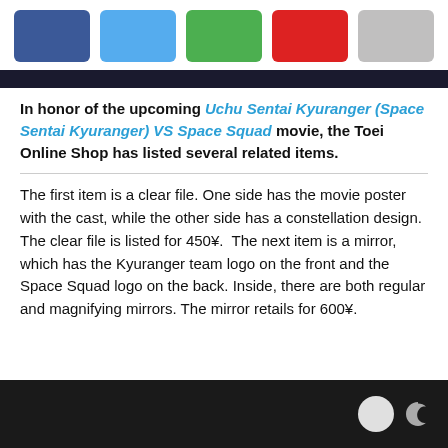Social share buttons: Facebook, Twitter, Google+, Gmail, Gray
[Figure (screenshot): Dark banner bar at top of article]
In honor of the upcoming Uchu Sentai Kyuranger (Space Sentai Kyuranger) VS Space Squad movie, the Toei Online Shop has listed several related items.
The first item is a clear file. One side has the movie poster with the cast, while the other side has a constellation design. The clear file is listed for 450¥.  The next item is a mirror, which has the Kyuranger team logo on the front and the Space Squad logo on the back. Inside, there are both regular and magnifying mirrors. The mirror retails for 600¥.
[Figure (screenshot): Dark bottom bar with circle icon and moon/crescent icon]